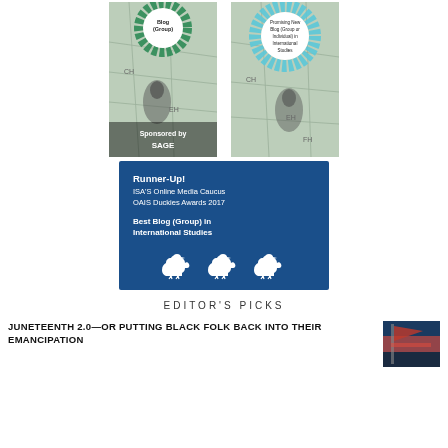[Figure (illustration): Two award rosette badges side by side. Left badge: green rosette with 'Blog (Group)' text, compass map background, 'Sponsored by SAGE' text. Right badge: blue rosette with 'Promising New Blog (Group or Individual) in International Studies' text, compass map background.]
[Figure (illustration): Blue rectangle award box: 'Runner-Up! ISA'S Online Media Caucus OAIS Duckies Awards 2017 Best Blog (Group) in International Studies' with three white duck silhouettes at bottom.]
EDITOR'S PICKS
JUNETEENTH 2.0—OR PUTTING BLACK FOLK BACK INTO THEIR EMANCIPATION
[Figure (photo): Thumbnail photo with dark blue and red flag imagery.]